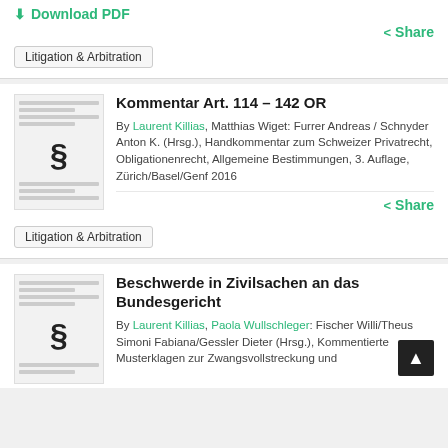⬇ Download PDF
< Share
Litigation & Arbitration
Kommentar Art. 114 – 142 OR
By Laurent Killias, Matthias Wiget: Furrer Andreas / Schnyder Anton K. (Hrsg.), Handkommentar zum Schweizer Privatrecht, Obligationenrecht, Allgemeine Bestimmungen, 3. Auflage, Zürich/Basel/Genf 2016
< Share
Litigation & Arbitration
Beschwerde in Zivilsachen an das Bundesgericht
By Laurent Killias, Paola Wullschleger: Fischer Willi/Theus Simoni Fabiana/Gessler Dieter (Hrsg.), Kommentierte Musterklagen zur Zwangsvollstreckung und